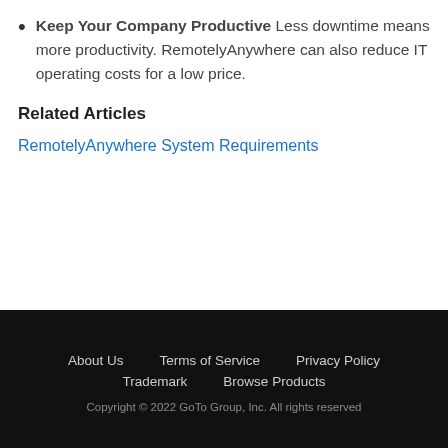Keep Your Company Productive Less downtime means more productivity. RemotelyAnywhere can also reduce IT operating costs for a low price.
Related Articles
RemotelyAnywhere System Requirements
About Us   Terms of Service   Privacy Policy   Trademark   Browse Products   Copyright © 2022 GoTo Group, Inc. All rights reserved